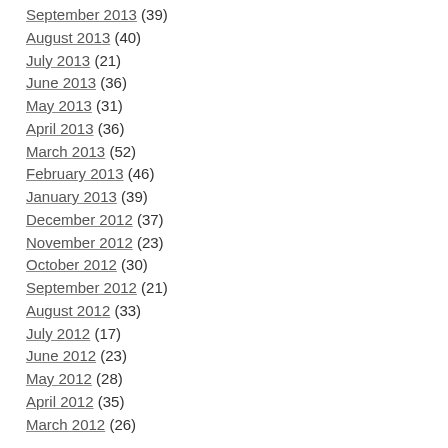September 2013 (39)
August 2013 (40)
July 2013 (21)
June 2013 (36)
May 2013 (31)
April 2013 (36)
March 2013 (52)
February 2013 (46)
January 2013 (39)
December 2012 (37)
November 2012 (23)
October 2012 (30)
September 2012 (21)
August 2012 (33)
July 2012 (17)
June 2012 (23)
May 2012 (28)
April 2012 (35)
March 2012 (26)